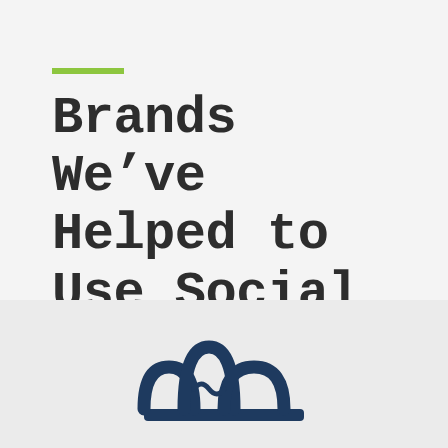Brands We've Helped to Use Social Media for Good
[Figure (logo): Dark navy blue stylized crown/wave logo mark at bottom of page on light grey background]